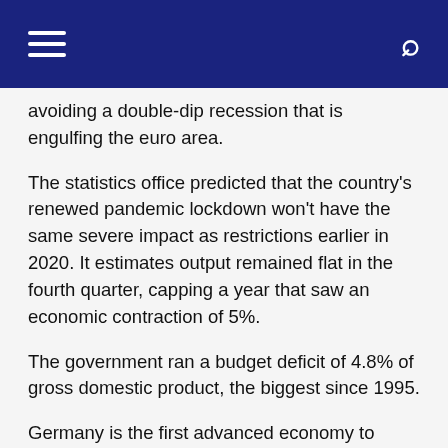avoiding a double-dip recession that is engulfing the euro area.
The statistics office predicted that the country's renewed pandemic lockdown won't have the same severe impact as restrictions earlier in 2020. It estimates output remained flat in the fourth quarter, capping a year that saw an economic contraction of 5%.
The government ran a budget deficit of 4.8% of gross domestic product, the biggest since 1995.
Germany is the first advanced economy to publish 2020 GDP figures, and it's likely to have fared better than its major European peers. Economists predict France and Italy both posted declines of about 9% and U.K. gross domestic product may have shrunk more than 10%.
The pain is extending into 2021 after a new surge in infections forced governments to extend lockdowns. Still, Germany has so far proved relatively resilient, in part due to extensive government